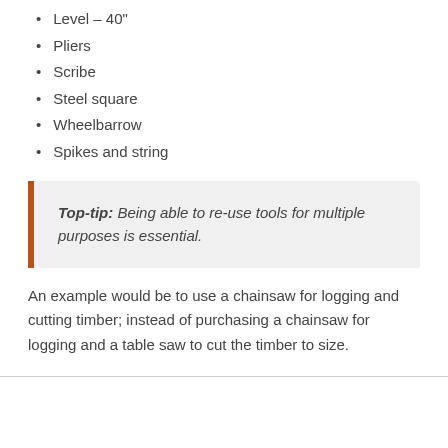Level – 40"
Pliers
Scribe
Steel square
Wheelbarrow
Spikes and string
Top-tip: Being able to re-use tools for multiple purposes is essential.
An example would be to use a chainsaw for logging and cutting timber; instead of purchasing a chainsaw for logging and a table saw to cut the timber to size.